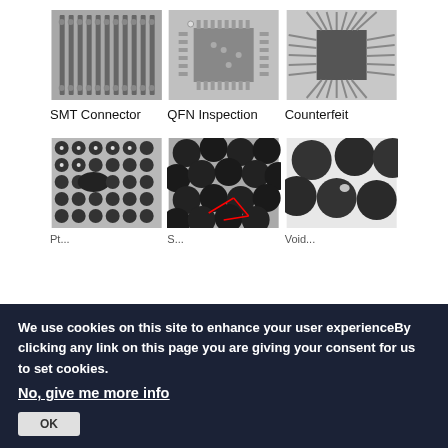[Figure (photo): X-ray or microscope image of SMT Connector showing rows of solder joints]
[Figure (photo): X-ray or microscope image of QFN package showing square chip with perimeter leads]
[Figure (photo): X-ray or microscope image of Counterfeit component showing fan-out traces]
SMT Connector
QFN Inspection
Counterfeit
[Figure (photo): Microscope image of BGA grid showing solder balls with defect/bridge]
[Figure (photo): Microscope close-up of solder balls with red markup annotations]
[Figure (photo): Microscope image of large solder balls on white background]
We use cookies on this site to enhance your user experienceBy clicking any link on this page you are giving your consent for us to set cookies.
No, give me more info